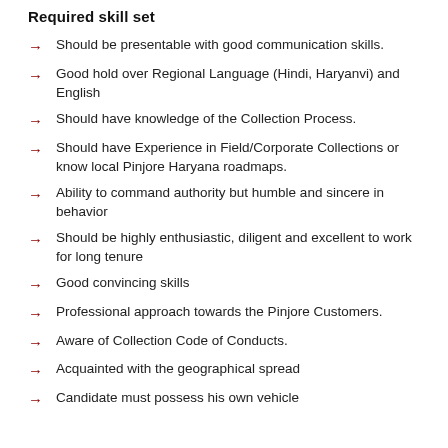Required skill set
Should be presentable with good communication skills.
Good hold over Regional Language (Hindi, Haryanvi) and English
Should have knowledge of the Collection Process.
Should have Experience in Field/Corporate Collections or know local Pinjore Haryana roadmaps.
Ability to command authority but humble and sincere in behavior
Should be highly enthusiastic, diligent and excellent to work for long tenure
Good convincing skills
Professional approach towards the Pinjore Customers.
Aware of Collection Code of Conducts.
Acquainted with the geographical spread
Candidate must possess his own vehicle